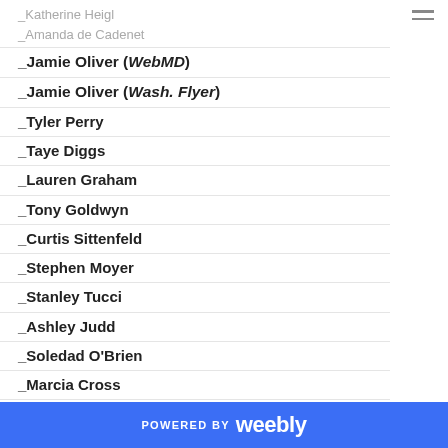_Katherine Heigl
_Amanda de Cadenet
_Jamie Oliver (WebMD)
_Jamie Oliver (Wash. Flyer)
_Tyler Perry
_Taye Diggs
_Lauren Graham
_Tony Goldwyn
_Curtis Sittenfeld
_Stephen Moyer
_Stanley Tucci
_Ashley Judd
_Soledad O'Brien
_Marcia Cross
_Andre Agassi
_Martina Navratilova
_Christina Hendricks
Louis Black
POWERED BY weebly